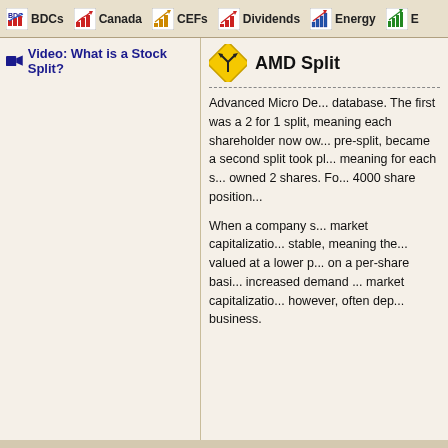BDCs | Canada | CEFs | Dividends | Energy | E...
Video: What is a Stock Split?
AMD Split
Advanced Micro De... database. The first ... was a 2 for 1 split, ... shareholder now ow... pre-split, became a ... second split took pl... meaning for each s... owned 2 shares. Fo... 4000 share position...
When a company s... market capitalizatio... stable, meaning the... valued at a lower p... on a per-share basi... increased demand ... market capitalizatio... however, often dep... business.